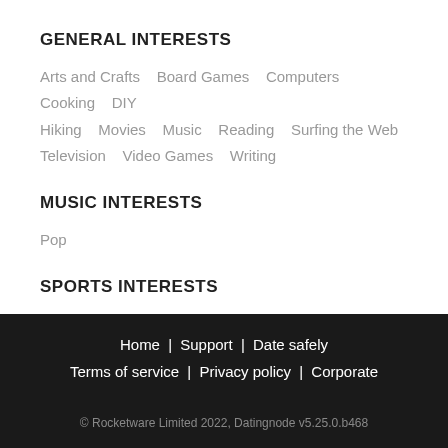GENERAL INTERESTS
Arts and Crafts   Board Games   Computers   Cooking   DIY   Hiking   Movies   Music   Reading   Surfing the Web   Television   Video Games   Writing
MUSIC INTERESTS
Pop
SPORTS INTERESTS
Yoga   Swimming
Home | Support | Date safely
Terms of service | Privacy policy | Corporate
© Rocketware Limited 2022, Datingnode v5.25.0.b468